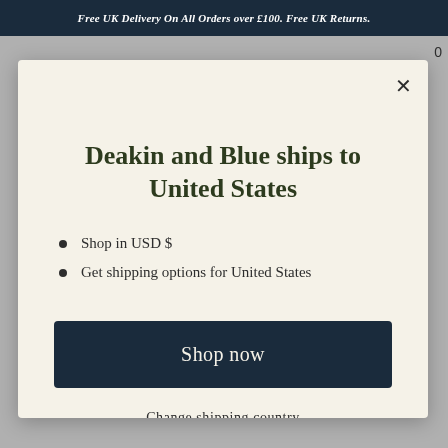Free UK Delivery On All Orders over £100. Free UK Returns.
Deakin and Blue ships to United States
Shop in USD $
Get shipping options for United States
Shop now
Change shipping country